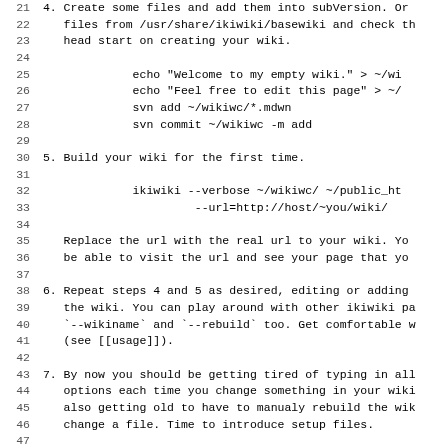Lines 21-52 of a monospace code/documentation listing showing ikiwiki setup instructions with line numbers, including shell commands and prose explanations for steps 4-7 of wiki setup.